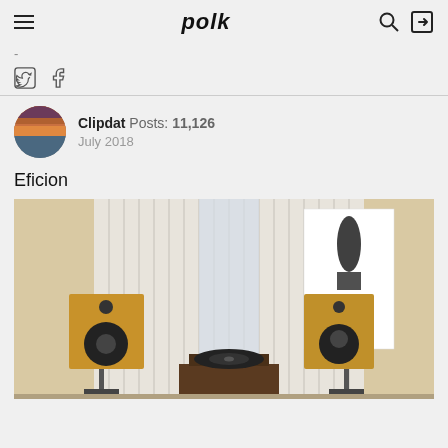polk
- (social share icons: Twitter, Facebook)
Clipdat  Posts: 11,126  July 2018
Eficion
[Figure (photo): Audio room with two wooden bookshelf speakers on stands flanking a turntable on a table. In the background, white curtains and a promotional banner showing Eficion loudspeakers and Prima amplifiers.]